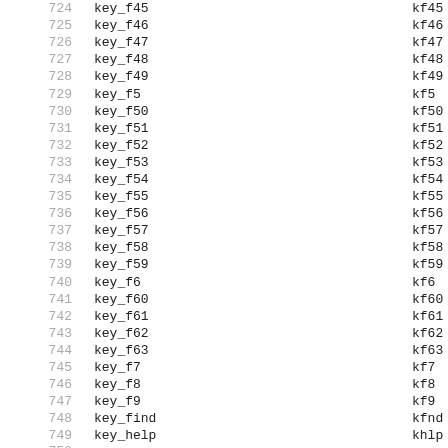| # | Name | Terminfo | Termcap |
| --- | --- | --- | --- |
| 724 | key_f45 | kf45 | FZ |
| 725 | key_f46 | kf46 | Fa |
| 726 | key_f47 | kf47 | Fb |
| 727 | key_f48 | kf48 | Fc |
| 728 | key_f49 | kf49 | Fd |
| 729 | key_f5 | kf5 | k5 |
| 730 | key_f50 | kf50 | Fe |
| 731 | key_f51 | kf51 | Ff |
| 732 | key_f52 | kf52 | Fg |
| 733 | key_f53 | kf53 | Fh |
| 734 | key_f54 | kf54 | Fi |
| 735 | key_f55 | kf55 | Fj |
| 736 | key_f56 | kf56 | Fk |
| 737 | key_f57 | kf57 | Fl |
| 738 | key_f58 | kf58 | Fm |
| 739 | key_f59 | kf59 | Fn |
| 740 | key_f6 | kf6 | k6 |
| 741 | key_f60 | kf60 | Fo |
| 742 | key_f61 | kf61 | Fp |
| 743 | key_f62 | kf62 | Fq |
| 744 | key_f63 | kf63 | Fr |
| 745 | key_f7 | kf7 | k7 |
| 746 | key_f8 | kf8 | k8 |
| 747 | key_f9 | kf9 | k9 |
| 748 | key_find | kfnd | @0 |
| 749 | key_help | khlp | %1 |
| 750 |  |  |  |
| 751 | key_home | khome | kh |
| 752 | key_ic | kich1 | kI |
| 753 | key_il | kil1 | kA |
| 754 | key_left | kcub1 | kl |
| 755 | key_ll | kll | kH |